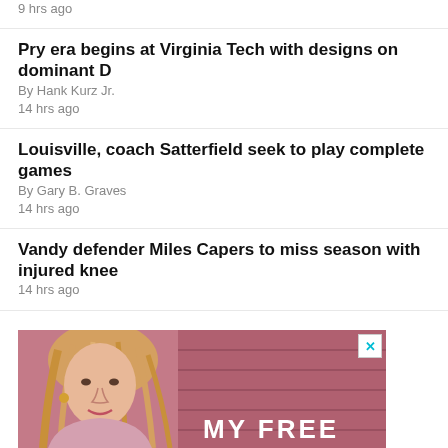9 hrs ago
Pry era begins at Virginia Tech with designs on dominant D
By Hank Kurz Jr.
14 hrs ago
Louisville, coach Satterfield seek to play complete games
By Gary B. Graves
14 hrs ago
Vandy defender Miles Capers to miss season with injured knee
14 hrs ago
[Figure (photo): Advertisement banner showing a woman with blonde hair against a pink/red background with text MY FREE partially visible]